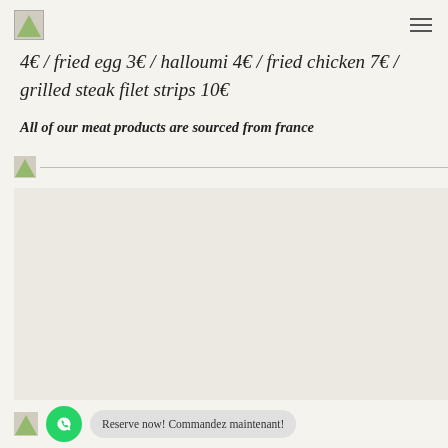[Figure (logo): Small logo image placeholder top left]
4€ / fried egg 3€ / halloumi 4€ / fried chicken 7€ / grilled steak filet strips 10€
All of our meat products are sourced from france
[Figure (photo): Divider with small logo and horizontal line]
[Figure (photo): Bottom bar with logo, WhatsApp button, and reserve now button]
Reserve now! Commandez maintenant!